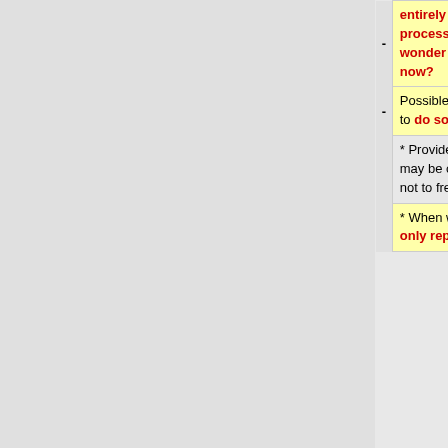| -/+ | NFS (left) | -/+ | AFS/NFS (right) |
| --- | --- | --- | --- |
| - | entirely files that are in use by running processes.  I'd expect application crashes.  I wonder how AFS administrators deal with that now? | + | around it, for example by keeping old versions of binaries in place (and using symlinks to direct users to the newest versions). |
| - | Possible approaches to fix the problem if we were to do something similar in the NFS case: | + | Possible approaches to fix the problem if we wanted to: |
|  | * Provide some protocol which tracks which files may be open on read-only replicas so that we know not to free those files when they're unlinked. |  | * Provide some protocol which tracks which files may be open on read-only replicas so that we know not to free those files when they're unlinked. |
|  | * When we distribute new versions, allow the read-only replicas to keep around older |  | * When we distribute new versions, allow servers to keep around |